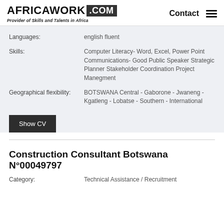AFRICAWORK .COM — Provider of Skills and Talents in Africa — Contact
Languages: english fluent
Skills: Computer Literacy- Word, Excel, Power Point Communications- Good Public Speaker Strategic Planner Stakeholder Coordination Project Manegment
Geographical flexibility: BOTSWANA Central - Gaborone - Jwaneng - Kgatleng - Lobatse - Southern - International
Show CV
Construction Consultant Botswana N°00049797
Category: Technical Assistance / Recruitment